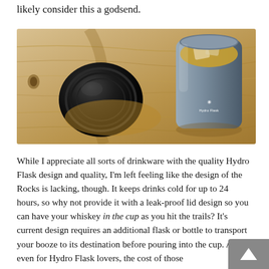likely consider this a godsend.
[Figure (photo): A Hydro Flask tumbler cup (gray/stone color) with black lid beside it, containing ice and a drink, placed on a wooden surface. The Hydro Flask logo is visible on the side of the cup.]
While I appreciate all sorts of drinkware with the quality Hydro Flask design and quality, I'm left feeling like the design of the Rocks is lacking, though. It keeps drinks cold for up to 24 hours, so why not provide it with a leak-proof lid design so you can have your whiskey in the cup as you hit the trails? It's current design requires an additional flask or bottle to transport your booze to its destination before pouring into the cup. Also, even for Hydro Flask lovers, the cost of those